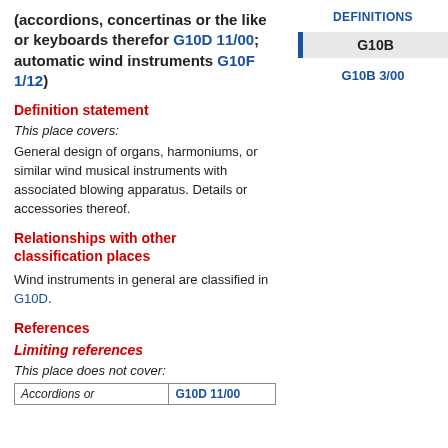(accordions, concertinas or the like or keyboards therefor G10D 11/00; automatic wind instruments G10F 1/12)
Definition statement
This place covers:
General design of organs, harmoniums, or similar wind musical instruments with associated blowing apparatus. Details or accessories thereof.
Relationships with other classification places
Wind instruments in general are classified in G10D.
References
Limiting references
This place does not cover:
|  |  |
| --- | --- |
| Accordions or | G10D 11/00 |